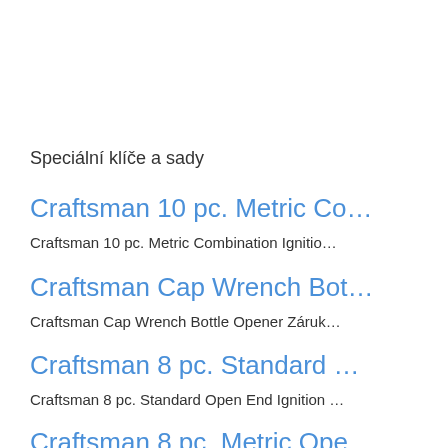Speciální klíče a sady
Craftsman 10 pc. Metric Co…
Craftsman 10 pc. Metric Combination Ignitio…
Craftsman Cap Wrench Bot…
Craftsman Cap Wrench Bottle Opener Záruk…
Craftsman 8 pc. Standard …
Craftsman 8 pc. Standard Open End Ignition …
Craftsman 8 pc. Metric Ope…